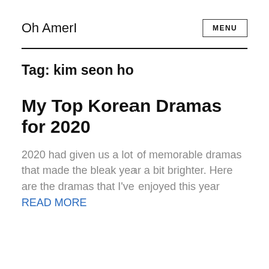Oh AmerI
Tag: kim seon ho
My Top Korean Dramas for 2020
2020 had given us a lot of memorable dramas that made the bleak year a bit brighter. Here are the dramas that I've enjoyed this year READ MORE